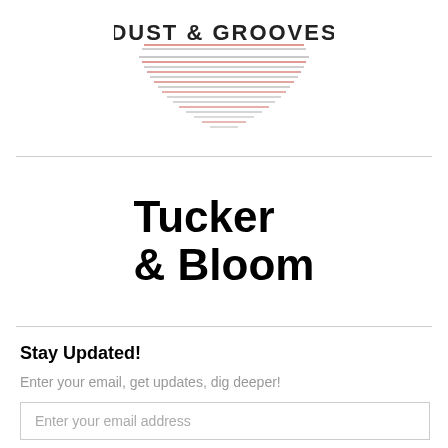[Figure (logo): Dust & Grooves logo with text 'DUST & GROOVES' at top and decorative horizontal lines below in red and grey forming a record-groove pattern]
[Figure (logo): Tucker & Bloom logo in large bold black sans-serif text, two lines: 'Tucker' and '& Bloom']
Stay Updated!
Enter your email, get updates, dig deeper!
Enter your email address